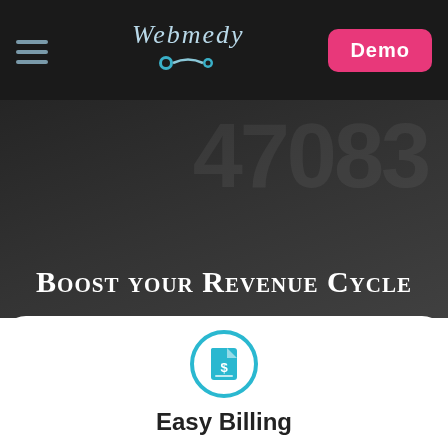Webmedy – Demo
[Figure (screenshot): Dark hero section with faint background digits and the headline 'Boost your Revenue Cycle']
Boost your Revenue Cycle
[Figure (illustration): Teal circle icon containing a billing/invoice document with a dollar sign]
Easy Billing
Medical billing software that speeds up payments and frees up staff time with